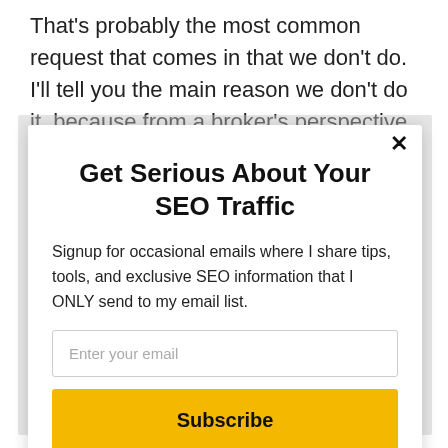That's probably the most common request that comes in that we don't do. I'll tell you the main reason we don't do it, because from a broker's perspective, obviously you only get
Get Serious About Your SEO Traffic
Signup for occasional emails where I share tips, tools, and exclusive SEO information that I ONLY send to my email list.
Enter your email
Subscribe
powered by MailMunch